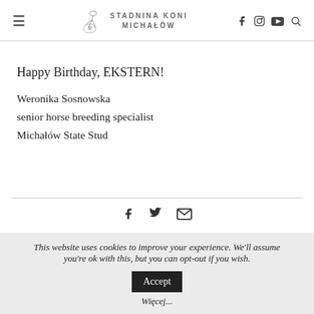STADNINA KONI MICHAŁÓW
Happy Birthday, EKSTERN!
Weronika Sosnowska
senior horse breeding specialist
Michałów State Stud
[Figure (infographic): Social share icons: Facebook, Twitter, Email]
This website uses cookies to improve your experience. We'll assume you're ok with this, but you can opt-out if you wish. Accept Więcej...